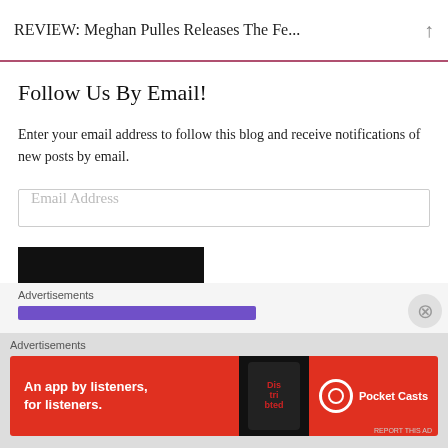REVIEW: Meghan Pulles Releases The Fe...
Follow Us By Email!
Enter your email address to follow this blog and receive notifications of new posts by email.
Email Address
FOLLOW
Join 1,396 other followers
Advertisements
[Figure (screenshot): Purple advertisement loading bar]
Advertisements
[Figure (infographic): Pocket Casts advertisement banner: 'An app by listeners, for listeners.' with phone image and Pocket Casts logo on red background]